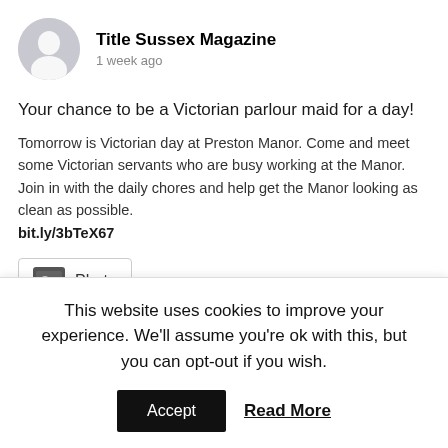Title Sussex Magazine
1 week ago
Your chance to be a Victorian parlour maid for a day!
Tomorrow is Victorian day at Preston Manor. Come and meet some Victorian servants who are busy working at the Manor. Join in with the daily chores and help get the Manor looking as clean as possible. bit.ly/3bTeX67
[Figure (other): Photo attachment placeholder icon with label 'Photo']
View on Facebook · Share
Title Sussex Magazine
2 weeks ago
This website uses cookies to improve your experience. We'll assume you're ok with this, but you can opt-out if you wish.
Accept  Read More